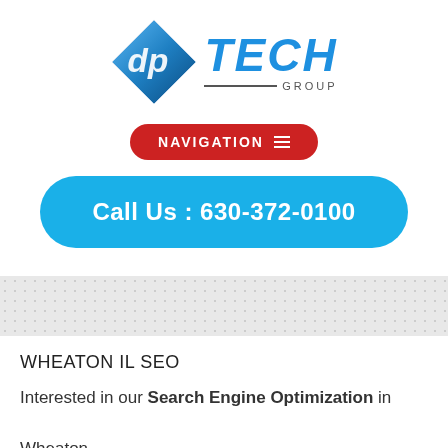[Figure (logo): dp Tech Group logo with blue diamond shape containing 'dp' text and 'TECH GROUP' text to the right]
[Figure (other): Red pill-shaped navigation button with 'NAVIGATION' text and hamburger menu icon]
[Figure (other): Blue rounded rectangle button with 'Call Us : 630-372-0100' text]
[Figure (other): Gray dotted pattern background band]
WHEATON IL SEO
Interested in our Search Engine Optimization in Wheaton